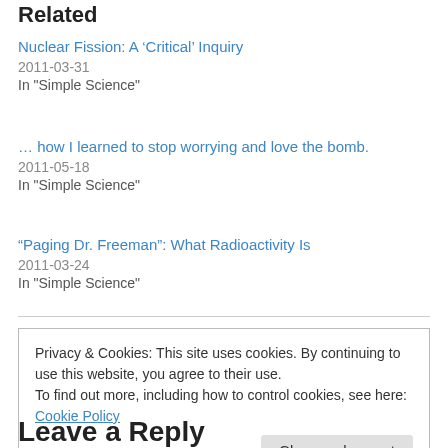Related
Nuclear Fission: A ‘Critical’ Inquiry
2011-03-31
In "Simple Science"
… how I learned to stop worrying and love the bomb.
2011-05-18
In "Simple Science"
“Paging Dr. Freeman”: What Radioactivity Is
2011-03-24
In "Simple Science"
Privacy & Cookies: This site uses cookies. By continuing to use this website, you agree to their use.
To find out more, including how to control cookies, see here: Cookie Policy
Leave a Reply